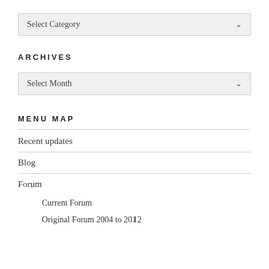[Figure (other): Select Category dropdown box with chevron arrow]
ARCHIVES
[Figure (other): Select Month dropdown box with chevron arrow]
MENU MAP
Recent updates
Blog
Forum
Current Forum
Original Forum 2004 to 2012